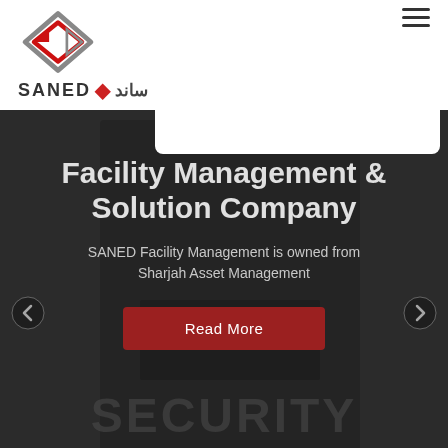[Figure (logo): SANED logo: red and grey diamond/G-shaped geometric icon above the text 'SANED' with a red dot and Arabic text 'ساند']
[Figure (photo): Dark background with a person wearing a black jacket with 'SECURITY' text visible at the bottom, serving as a hero background image]
Facility Management & Solution Company
SANED Facility Management is owned from Sharjah Asset Management
Read More